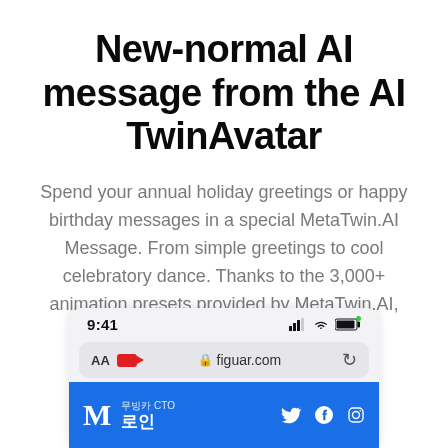New-normal AI message from the AI TwinAvatar
Spend your annual holiday greetings or happy birthday messages in a special MetaTwin.AI Message. From simple greetings to cool celebratory dance. Thanks to the 3,000+ animation presets provided by MetaTwin.AI, there's nothing AI Twin can't do.
[Figure (screenshot): Mobile browser screenshot showing status bar with 9:41 time, signal/wifi/battery icons, address bar with AA, video icon, figuar.com URL and reload button, and a blue bottom bar with M letter, Korean text '무빙카 CTO / 로인', and social media icons (Twitter, Facebook, Instagram).]